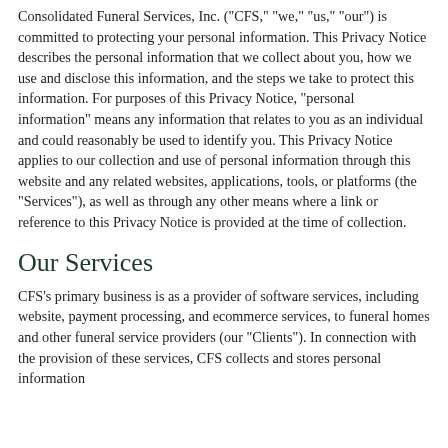Consolidated Funeral Services, Inc. ("CFS," "we," "us," "our") is committed to protecting your personal information. This Privacy Notice describes the personal information that we collect about you, how we use and disclose this information, and the steps we take to protect this information. For purposes of this Privacy Notice, "personal information" means any information that relates to you as an individual and could reasonably be used to identify you. This Privacy Notice applies to our collection and use of personal information through this website and any related websites, applications, tools, or platforms (the "Services"), as well as through any other means where a link or reference to this Privacy Notice is provided at the time of collection.
Our Services
CFS's primary business is as a provider of software services, including website, payment processing, and ecommerce services, to funeral homes and other funeral service providers (our "Clients"). In connection with the provision of these services, CFS collects and stores personal information